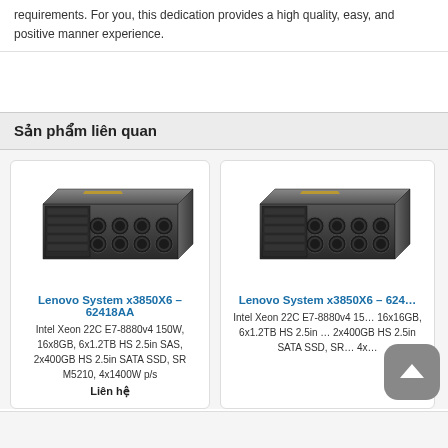requirements. For you, this dedication provides a high quality, easy, and positive manner experience.
Sản phẩm liên quan
[Figure (photo): Lenovo System x3850X6 server rack unit, dark gray, viewed from front-left angle]
Lenovo System x3850X6 – 62418AA
Intel Xeon 22C E7-8880v4 150W, 16x8GB, 6x1.2TB HS 2.5in SAS, 2x400GB HS 2.5in SATA SSD, SR M5210, 4x1400W p/s
Liên hệ
[Figure (photo): Lenovo System x3850X6 server rack unit, dark gray, viewed from front-left angle, second model]
Lenovo System x3850X6 – 624...
Intel Xeon 22C E7-8880v4 15... 16x16GB, 6x1.2TB HS 2.5in ... 2x400GB HS 2.5in SATA SSD, SR... 4x...